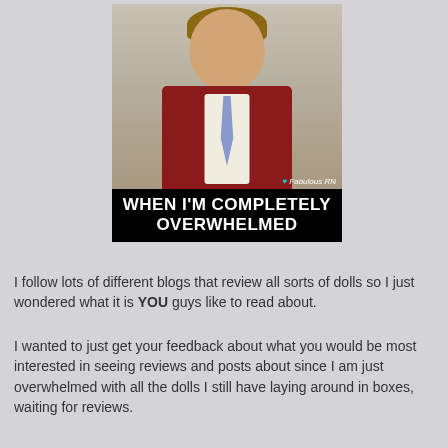[Figure (photo): Meme image featuring a man in a red suit with a mustache smiling, with the text 'WHEN I'M COMPLETELY OVERWHELMED' in bold white on black banner at bottom. Watermark reads '♥ Fabulous RN'.]
I follow lots of different blogs that review all sorts of dolls so I just wondered what it is YOU guys like to read about.
I wanted to just get your feedback about what you would be most interested in seeing reviews and posts about since I am just overwhelmed with all the dolls I still have laying around in boxes, waiting for reviews.